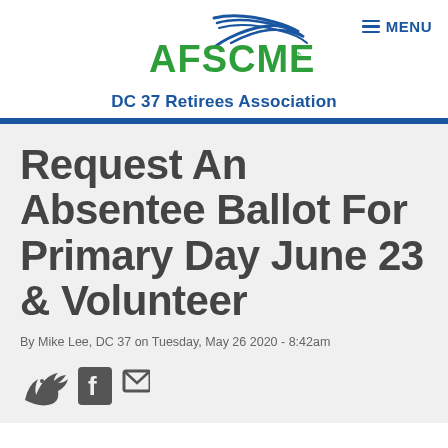[Figure (logo): AFSCME logo with blue swoosh graphic and green AFSCME text, with 'DC 37 Retirees Association' in blue below, and MENU button top right]
Request An Absentee Ballot For Primary Day June 23 & Volunteer
By Mike Lee, DC 37 on Tuesday, May 26 2020 - 8:42am
[Figure (illustration): Social media share icons: Twitter bird, Facebook f, and email/envelope icon]